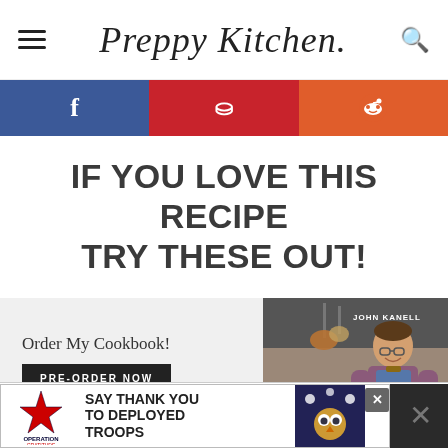Preppy Kitchen
[Figure (infographic): Social sharing bar with Facebook (blue), Pinterest (red), and Reddit (orange) buttons]
IF YOU LOVE THIS RECIPE TRY THESE OUT!
[Figure (photo): Cookbook advertisement with photo of John Kanell in kitchen wearing apron, text: Order My Cookbook! PRE-ORDER NOW]
[Figure (infographic): Ad banner: Operation Gratitude - SAY THANK YOU TO DEPLOYED TROOPS]